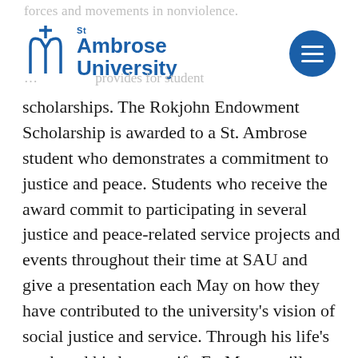forces and movements in nonviolence. St Ambrose University
scholarships. The Rokjohn Endowment Scholarship is awarded to a St. Ambrose student who demonstrates a commitment to justice and peace. Students who receive the award commit to participating in several justice and peace-related service projects and events throughout their time at SAU and give a presentation each May on how they have contributed to the university's vision of social justice and service. Through his life's work and his legacy gift, Fr. Mottet will continue to influence those committed to social justice for years to come.